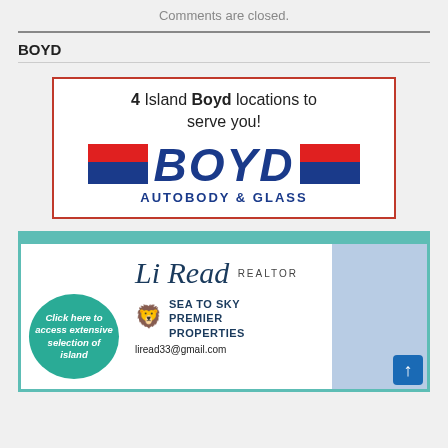Comments are closed.
BOYD
[Figure (advertisement): Boyd Autobody & Glass advertisement. Text: '4 Island Boyd locations to serve you!' with Boyd Autobody & Glass logo featuring blue and red stripes. Red border around ad.]
[Figure (advertisement): Li Read Realtor advertisement. Shows script logo 'Li Read REALTOR', Sea to Sky Premier Properties logo, email liread33@gmail.com, teal circle with 'Click here to access extensive selection of island' text, and photo of woman with dog. Teal decorative border.]